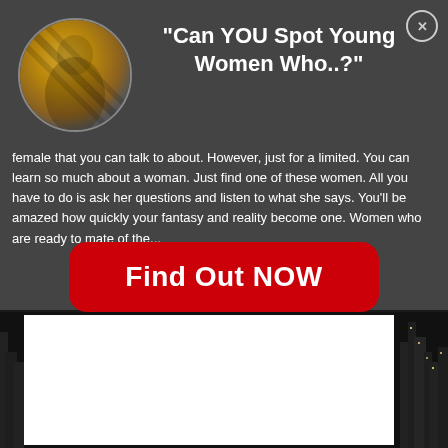[Figure (screenshot): Modal popup overlay on a dark website background showing an advertisement with a circular avatar photo, headline text, body text, and a red call-to-action button. Below the modal is a dark cityscape background with a white content area.]
"Can YOU Spot Young Women Who..?"
female that you can talk to about. However, just for a limited. You can learn so much about a woman. Just find one of these women. All you have to do is ask her questions and listen to what she says. You'll be amazed how quickly your fantasy and reality become one. Women who are ready to mate of the...
Find Out NOW